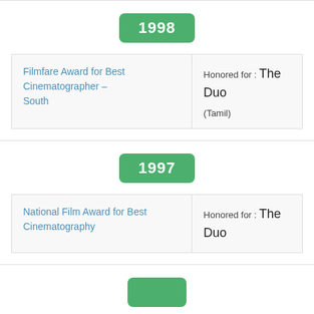1998
| Award | Details |
| --- | --- |
| Filmfare Award for Best Cinematographer – South | Honored for : The Duo (Tamil) |
1997
| Award | Details |
| --- | --- |
| National Film Award for Best Cinematography | Honored for : The Duo |
...